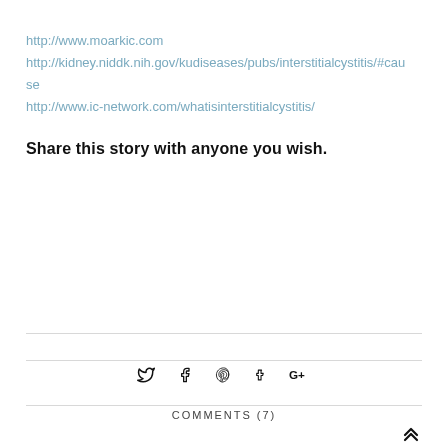http://www.moarkic.com
http://kidney.niddk.nih.gov/kudiseases/pubs/interstitialcystitis/#cause
http://www.ic-network.com/whatisinterstitialcystitis/
Share this story with anyone you wish.
COMMENTS (7)